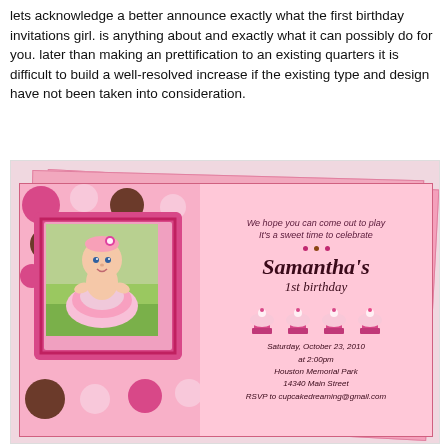lets acknowledge a better announce exactly what the first birthday invitations girl. is anything about and exactly what it can possibly do for you. later than making an prettification to an existing quarters it is difficult to build a well-resolved increase if the existing type and design have not been taken into consideration.
[Figure (photo): A first birthday party invitation card showing a baby girl photo on the left with polka dot background and pink scalloped frame, and text on the right reading: We hope you can come out to play, It's a sweet time to celebrate, Samantha's 1st birthday, Saturday October 23 2010, at 2:00pm, Houston Memorial Park, 14340 Main Street, RSVP to cupcakedreaming@gmail.com. Card has cupcake illustrations at the bottom right.]